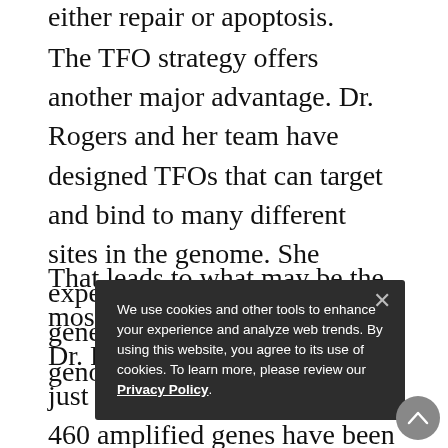either repair or apoptosis.
The TFO strategy offers another major advantage. Dr. Rogers and her team have designed TFOs that can target and bind to many different sites in the genome. She expects to be able to target genes anywhere within the genome.
That leads to what may be the most exciting vista opened by Dr. Rogers's research. HER2 is just the beginning. More than 460 amplified genes have been implicated in 14 cancer subtypes. All these genes are potentially vulnerable to specific TFOs. Currently, Dr. Rogers and her team are focusing on cancers that are more common examples, such as ovarian cancer. At the top of Dr. Rogers's most-wanted list is c-Myc, an oncogene amplified in up
We use cookies and other tools to enhance your experience and analyze web trends. By using this website, you agree to its use of cookies. To learn more, please review our Privacy Policy.